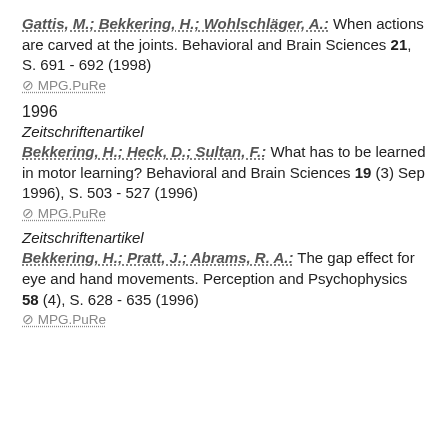Gattis, M.; Bekkering, H.; Wohlschläger, A.: When actions are carved at the joints. Behavioral and Brain Sciences 21, S. 691 - 692 (1998)
⊘ MPG.PuRe
1996
Zeitschriftenartikel
Bekkering, H.; Heck, D.; Sultan, F.: What has to be learned in motor learning? Behavioral and Brain Sciences 19 (3) Sep 1996), S. 503 - 527 (1996)
⊘ MPG.PuRe
Zeitschriftenartikel
Bekkering, H.; Pratt, J.; Abrams, R. A.: The gap effect for eye and hand movements. Perception and Psychophysics 58 (4), S. 628 - 635 (1996)
⊘ MPG.PuRe